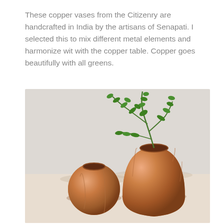These copper vases from the Citizenry are handcrafted in India by the artisans of Senapati. I selected this to mix different metal elements and harmonize wit with the copper table. Copper goes beautifully with all greens.
[Figure (photo): Two copper vases on a light wooden surface against a light gray background. A small round copper vase on the left and a taller teardrop-shaped copper vase on the right, with green leafy branches arranged in the taller vase.]